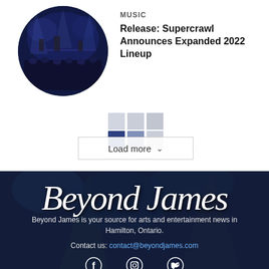[Figure (photo): Circular photo of a band performing on stage with blue lighting and crowd visible in foreground]
MUSIC
Release: Supercrawl Announces Expanded 2022 Lineup
[Figure (other): Loading grid spinner made of colored squares (light gray and dark navy blue squares in a 3x3 grid pattern)]
Load more
[Figure (photo): Dark concert venue background photo with stage lighting]
Beyond James
Beyond James is your source for arts and entertainment news in Hamilton, Ontario.
Contact us: contact@beyondjames.com
[Figure (other): Social media icons: Facebook, Instagram, Twitter]